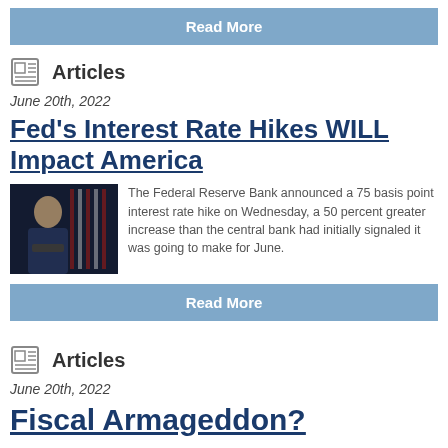[Figure (other): Read More button at top of page]
Articles
June 20th, 2022
Fed's Interest Rate Hikes WILL Impact America
[Figure (photo): Photo of Federal Reserve official at podium with American flags]
The Federal Reserve Bank announced a 75 basis point interest rate hike on Wednesday, a 50 percent greater increase than the central bank had initially signaled it was going to make for June.
[Figure (other): Read More button]
Articles
June 20th, 2022
Fiscal Armageddon?